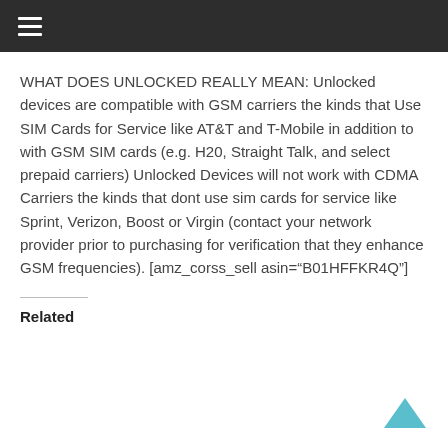≡
WHAT DOES UNLOCKED REALLY MEAN: Unlocked devices are compatible with GSM carriers the kinds that Use SIM Cards for Service like AT&T and T-Mobile in addition to with GSM SIM cards (e.g. H20, Straight Talk, and select prepaid carriers) Unlocked Devices will not work with CDMA Carriers the kinds that dont use sim cards for service like Sprint, Verizon, Boost or Virgin (contact your network provider prior to purchasing for verification that they enhance GSM frequencies). [amz_corss_sell asin="B01HFFKR4Q"]
Related